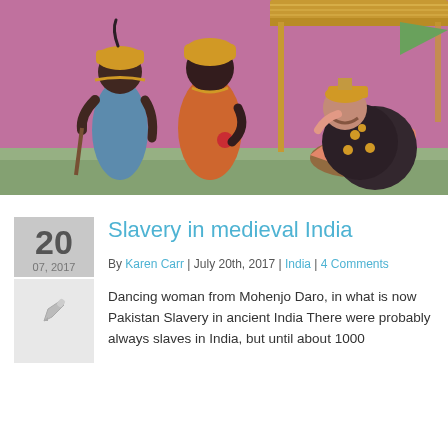[Figure (illustration): A Mughal-era painting with a pink/purple background showing figures in colorful traditional Indian dress. On the left are two dark-skinned figures wearing yellow and orange turbans and garments. On the right is a lighter-skinned figure wearing a crown and holding a large black circular shield, seated on a throne under a golden canopied structure.]
Slavery in medieval India
By Karen Carr | July 20th, 2017 | India | 4 Comments
Dancing woman from Mohenjo Daro, in what is now Pakistan Slavery in ancient India There were probably always slaves in India, but until about 1000